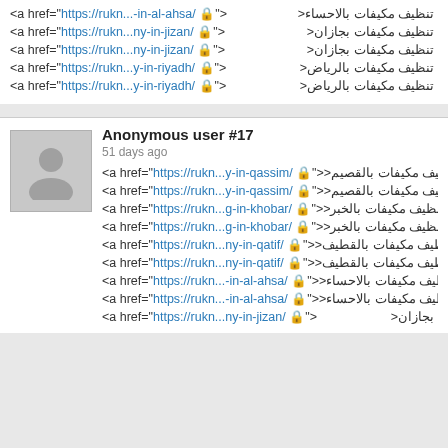<a href="https://rukn...-in-al-ahsa/ 🔒">تنظيف مكيفات بالاحساء<
<a href="https://rukn...ny-in-jizan/ 🔒">تنظيف مكيفات بجازان<
<a href="https://rukn...ny-in-jizan/ 🔒">تنظيف مكيفات بجازان<
<a href="https://rukn...y-in-riyadh/ 🔒">تنظيف مكيفات بالرياض<
<a href="https://rukn...y-in-riyadh/ 🔒">تنظيف مكيفات بالرياض<
Anonymous user #17
51 days ago
<a href="https://rukn...y-in-qassim/ 🔒">تنظيف مكيفات بالقصيم<
<a href="https://rukn...y-in-qassim/ 🔒">تنظيف مكيفات بالقصيم<
<a href="https://rukn...g-in-khobar/ 🔒">تنظيف مكيفات بالخبر<
<a href="https://rukn...g-in-khobar/ 🔒">تنظيف مكيفات بالخبر<
<a href="https://rukn...ny-in-qatif/ 🔒">تنظيف مكيفات بالقطيف<
<a href="https://rukn...ny-in-qatif/ 🔒">تنظيف مكيفات بالقطيف<
<a href="https://rukn...-in-al-ahsa/ 🔒">تنظيف مكيفات بالاحساء<
<a href="https://rukn...-in-al-ahsa/ 🔒">تنظيف مكيفات بالاحساء<
<a href="https://rukn...ny-in-jizan/ 🔒">بجازان<